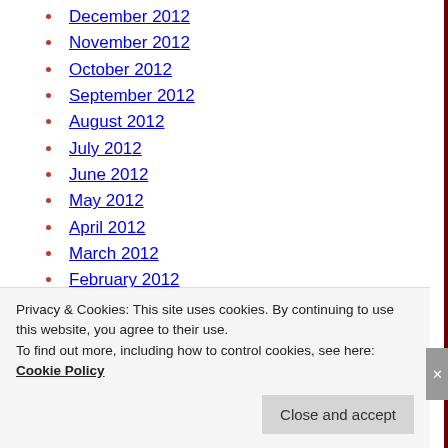December 2012
November 2012
October 2012
September 2012
August 2012
July 2012
June 2012
May 2012
April 2012
March 2012
February 2012
January 2012
December 2011
November 2011
October 2011
September 2011
August 2011
Privacy & Cookies: This site uses cookies. By continuing to use this website, you agree to their use.
To find out more, including how to control cookies, see here: Cookie Policy
Close and accept